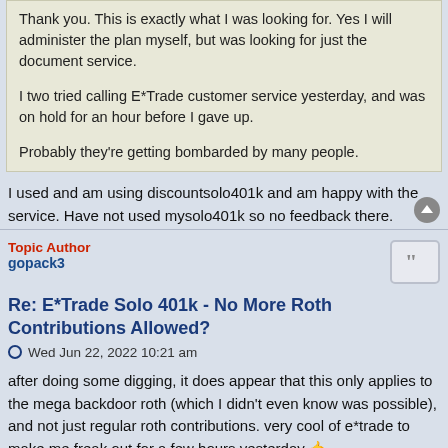Thank you. This is exactly what I was looking for. Yes I will administer the plan myself, but was looking for just the document service.

I two tried calling E*Trade customer service yesterday, and was on hold for an hour before I gave up.

Probably they're getting bombarded by many people.
I used and am using discountsolo401k and am happy with the service. Have not used mysolo401k so no feedback there.
Topic Author
gopack3
Re: E*Trade Solo 401k - No More Roth Contributions Allowed?
Wed Jun 22, 2022 10:21 am
after doing some digging, it does appear that this only applies to the mega backdoor roth (which I didn't even know was possible), and not just regular roth contributions. very cool of e*trade to make me freak out for a few hours yesterday 🤙

and on top of all that, it doesn't really seem like you even need to restate your plan agreement, and that the email is notification enough as long as